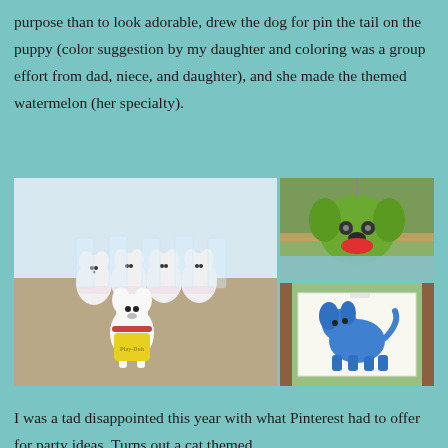purpose than to look adorable, drew the dog for pin the tail on the puppy (color suggestion by my daughter and coloring was a group effort from dad, niece, and daughter), and she made the themed watermelon (her specialty).
[Figure (photo): A collage of three photos: left large photo shows rows of stuffed dog party favor bags lined up on a table; top right photo shows a watermelon carved/decorated to look like a dog face; bottom right photo shows a hand-drawn picture of a blue dog pinned up outdoors.]
I was a tad disappointed this year with what Pinterest had to offer for party ideas.  Turns out a cat themed